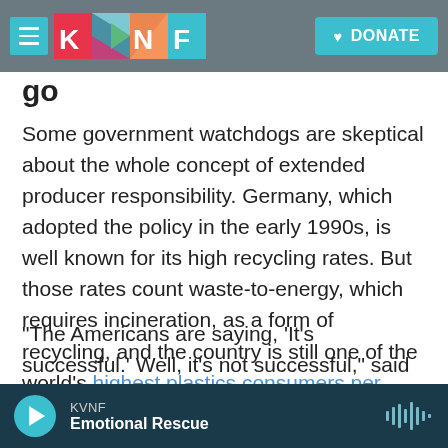KVNF — hamburger menu, logo, DONATE button
go
Some government watchdogs are skeptical about the whole concept of extended producer responsibility. Germany, which adopted the policy in the early 1990s, is well known for its high recycling rates. But those rates count waste-to-energy, which requires incineration, as a form of recycling, and the country is still one of the world's highest plastics consumers per capita.
"The Americans are saying, 'It's successful.' Well, it's not successful," said Neil Seldman, director of the Waste to Wealth Initiative at the Institute for
KVNF — Emotional Rescue (audio player)